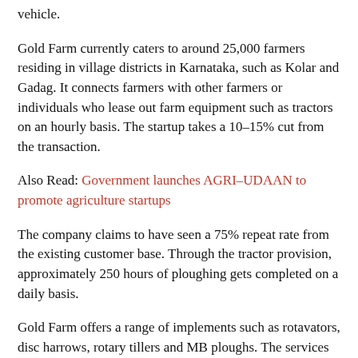vehicle.
Gold Farm currently caters to around 25,000 farmers residing in village districts in Karnataka, such as Kolar and Gadag. It connects farmers with other farmers or individuals who lease out farm equipment such as tractors on an hourly basis. The startup takes a 10–15% cut from the transaction.
Also Read: Government launches AGRI–UDAAN to promote agriculture startups
The company claims to have seen a 75% repeat rate from the existing customer base. Through the tractor provision, approximately 250 hours of ploughing gets completed on a daily basis.
Gold Farm offers a range of implements such as rotavators, disc harrows, rotary tillers and MB ploughs. The services are charged on an hourly basis, based on the tariff fixed by a local panel that includes a government representative, mainly the District Agriculture Department officials.